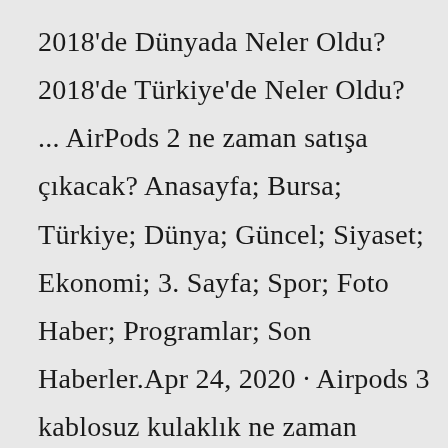2018'de Dünyada Neler Oldu? 2018'de Türkiye'de Neler Oldu? ... AirPods 2 ne zaman satışa çıkacak? Anasayfa; Bursa; Türkiye; Dünya; Güncel; Siyaset; Ekonomi; 3. Sayfa; Spor; Foto Haber; Programlar; Son Haberler.Apr 24, 2020 · Airpods 3 kablosuz kulaklık ne zaman çıkacak? Aslında tam olarak net bir tarih ortaya çıkmış değil. Başarılı Apple Analisti Ming-Chi Kuo , yeni kablosuz kulaklık için 2021